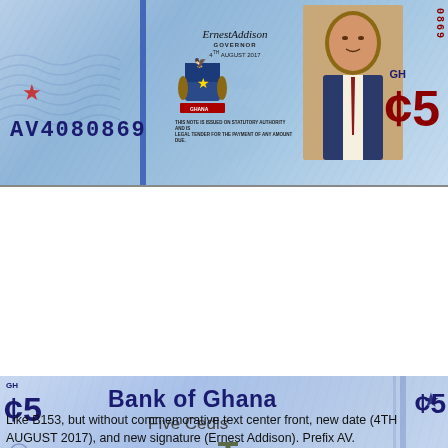[Figure (photo): Front face of Ghana 5 Cedis banknote (2017 issue). Shows serial number AV4080869, portrait of a man on right, coat of arms, governor signature dated 4TH AUGUST 2017, denomination GH¢5 in red on right side, vertical serial numbers on far right edge reading 0869.]
[Figure (photo): Reverse side of Ghana 5 Cedis banknote. Shows 'BANK OF GHANA Five Cedis' text at top center, GH¢5 denomination in dark blue on left and right, an oil platform/FPSO vessel in the center, decorative circles on left edge, a QR code bottom right, cocoa pods bottom right corner, and a blue star.]
Like B153, but without commemorative text center front, new date (4TH AUGUST 2017), and new signature (Ernest Addison). Prefix AV.